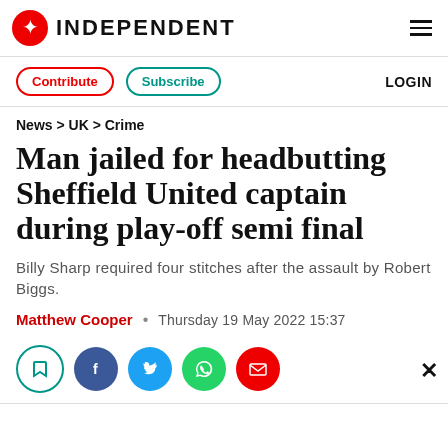INDEPENDENT
Contribute  Subscribe  LOGIN
News > UK > Crime
Man jailed for headbutting Sheffield United captain during play-off semi final
Billy Sharp required four stitches after the assault by Robert Biggs.
Matthew Cooper • Thursday 19 May 2022 15:37